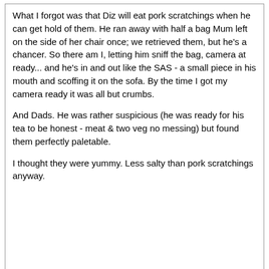What I forgot was that Diz will eat pork scratchings when he can get hold of them. He ran away with half a bag Mum left on the side of her chair once; we retrieved them, but he's a chancer. So there am I, letting him sniff the bag, camera at ready... and he's in and out like the SAS - a small piece in his mouth and scoffing it on the sofa. By the time I got my camera ready it was all but crumbs.

And Dads. He was rather suspicious (he was ready for his tea to be honest - meat & two veg no messing) but found them perfectly paletable.

I thought they were yummy. Less salty than pork scratchings anyway.
Sundae
05-17-2011 11:53 AM
2 Attachment(s)
PEEEEEEEPS!

My sister & nephew turned up unexpectedly.
I was on the sofa with packaging around me and fast food wrappers in evidence.
I even had Maury on the TV (waiting for the programme that came on next actually, since you ask).

I felt like a bloated cliche.

But 13 year old boys don't judge.
Samuel had two Peep chicks.
And after they left I took a self portrait of a Peep peeping out.